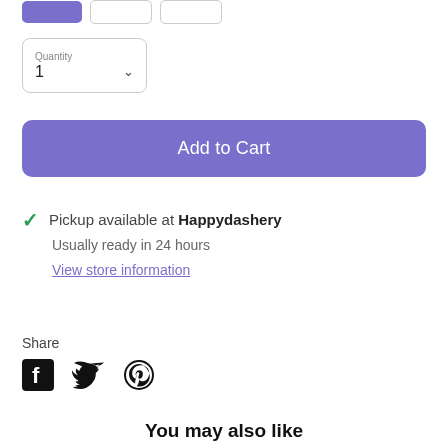[Figure (screenshot): Three buttons at top: one purple filled, two outlined]
Quantity
1
Add to Cart
Pickup available at Happydashery
Usually ready in 24 hours
View store information
Share
[Figure (illustration): Facebook, Twitter, and Pinterest social media icons]
You may also like